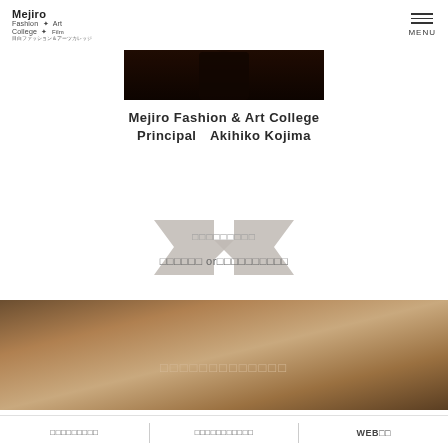Mejiro Fashion Art College MENU
[Figure (photo): Dark close-up photo of a person in dark clothing, upper body visible against dark background]
Mejiro Fashion & Art College Principal   Akihiko Kojima
[Figure (infographic): Arrow graphic with Japanese text call-to-action, two lines of Japanese text with 'or' in between]
[Figure (photo): Brown/tan gradient decorative band with Japanese text]
[Japanese text] | [Japanese text] | WEB[Japanese text]